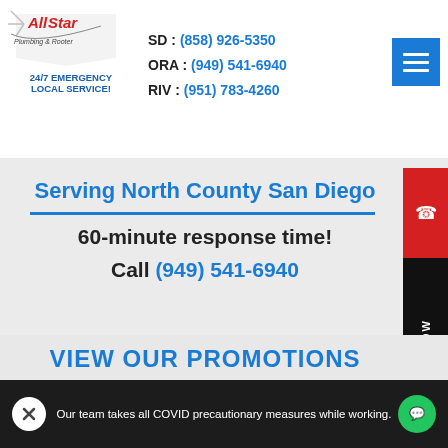All Star 24/7 EMERGENCY LOCAL SERVICE! SD: (858) 926-5350 ORA: (949) 541-6940 RIV: (951) 783-4260
Serving North County San Diego
60-minute response time!
Call (949) 541-6940
VIEW OUR PROMOTIONS
Our team takes all COVID precautionary measures while working.